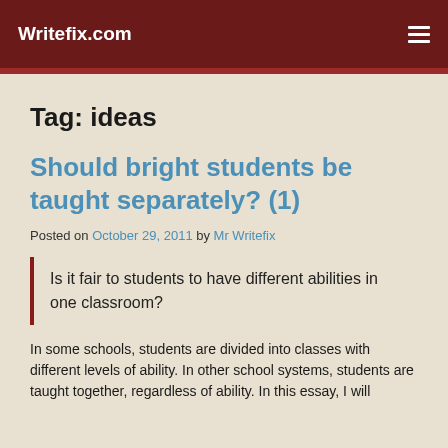Writefix.com
Tag: ideas
Should bright students be taught separately? (1)
Posted on October 29, 2011 by Mr Writefix
Is it fair to students to have different abilities in one classroom?
In some schools, students are divided into classes with different levels of ability. In other school systems, students are taught together, regardless of ability. In this essay, I will